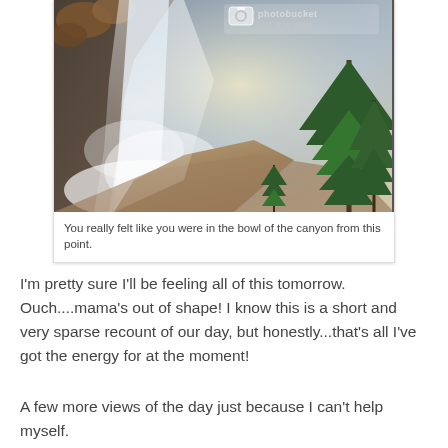[Figure (photo): Aerial view looking down into a canyon with a large waterfall on the left side, mist filling the canyon, and tall conifer trees on the right side. A photobucket watermark appears in the upper portion. The canyon floor and rock walls are visible with warm light illuminating the mist.]
You really felt like you were in the bowl of the canyon from this point.
I'm pretty sure I'll be feeling all of this tomorrow. Ouch....mama's out of shape! I know this is a short and very sparse recount of our day, but honestly...that's all I've got the energy for at the moment!
A few more views of the day just because I can't help myself.